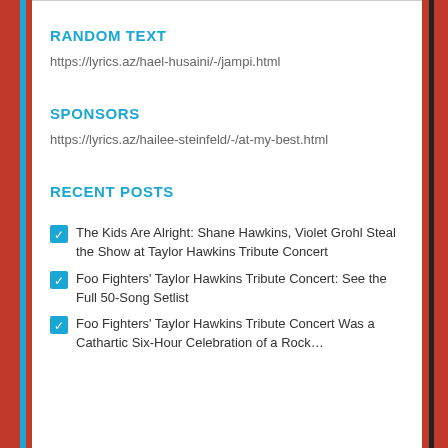RANDOM TEXT
https://lyrics.az/hael-husaini/-/jampi.html
SPONSORS
https://lyrics.az/hailee-steinfeld/-/at-my-best.html
RECENT POSTS
The Kids Are Alright: Shane Hawkins, Violet Grohl Steal the Show at Taylor Hawkins Tribute Concert
Foo Fighters' Taylor Hawkins Tribute Concert: See the Full 50-Song Setlist
Foo Fighters' Taylor Hawkins Tribute Concert Was a Cathartic Six-Hour Celebration of a Rock…